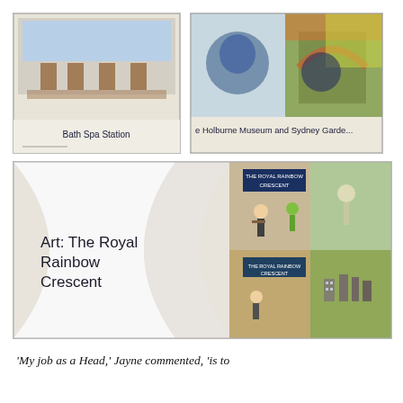[Figure (photo): Photo of children's artwork showing a drawing of Bath Spa Station with caption 'Bath Spa Station' at the bottom]
[Figure (photo): Photo of children's artwork showing colorful drawings of The Holburne Museum and Sydney Gardens, partially cropped, with caption 'e Holburne Museum and Sydney Gardens' at the bottom]
[Figure (photo): Photo of a curved/rolled display board showing children's artwork titled 'Art: The Royal Rainbow Crescent' with multiple panels depicting The Royal Rainbow Crescent scenes]
'My job as a Head,' Jayne commented, 'is to